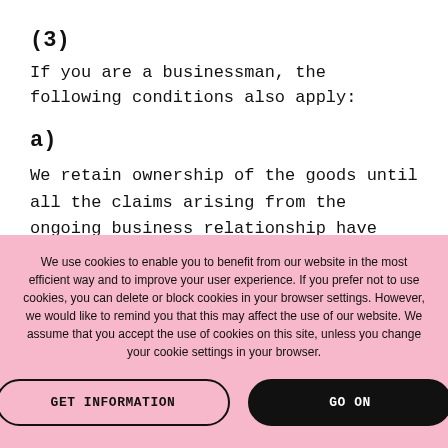(3)
If you are a businessman, the following conditions also apply:
a)
We retain ownership of the goods until all the claims arising from the ongoing business relationship have been settled in full. The goods subject to retention of title may not be pledged or
We use cookies to enable you to benefit from our website in the most efficient way and to improve your user experience. If you prefer not to use cookies, you can delete or block cookies in your browser settings. However, we would like to remind you that this may affect the use of our website. We assume that you accept the use of cookies on this site, unless you change your cookie settings in your browser.
GET INFORMATION
GO ON